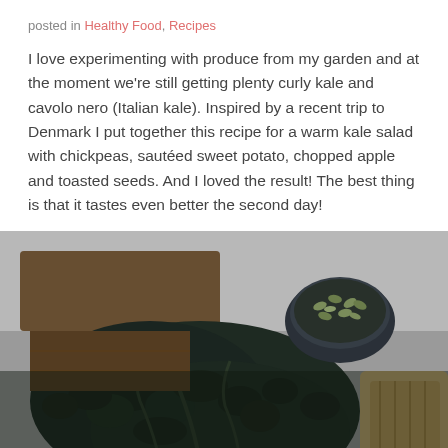posted in Healthy Food, Recipes
I love experimenting with produce from my garden and at the moment we're still getting plenty curly kale and cavolo nero (Italian kale). Inspired by a recent trip to Denmark I put together this recipe for a warm kale salad with chickpeas, sautéed sweet potato, chopped apple and toasted seeds. And I loved the result! The best thing is that it tastes even better the second day!
[Figure (photo): Close-up photograph of dark curly kale leaves (cavolo nero) arranged on a wooden surface, with a small dark bowl filled with seeds visible in the upper right area of the image.]